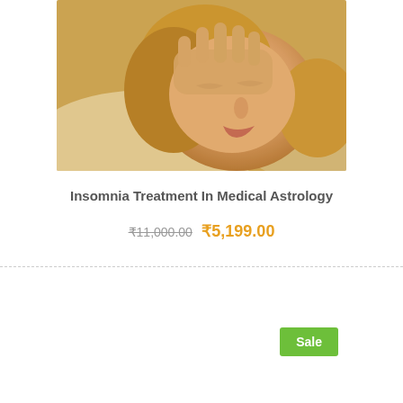[Figure (photo): Woman lying down with her hand on her forehead, eyes closed, appearing to suffer from insomnia or headache, warm golden tones]
Insomnia Treatment In Medical Astrology
₹11,000.00 ₹5,199.00
Sale